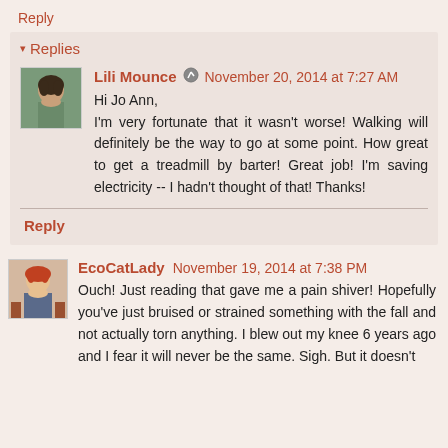Reply
Replies
Lili Mounce  November 20, 2014 at 7:27 AM
Hi Jo Ann,
I'm very fortunate that it wasn't worse! Walking will definitely be the way to go at some point. How great to get a treadmill by barter! Great job! I'm saving electricity -- I hadn't thought of that! Thanks!
Reply
EcoCatLady  November 19, 2014 at 7:38 PM
Ouch! Just reading that gave me a pain shiver! Hopefully you've just bruised or strained something with the fall and not actually torn anything. I blew out my knee 6 years ago and I fear it will never be the same. Sigh. But it doesn't seem like...